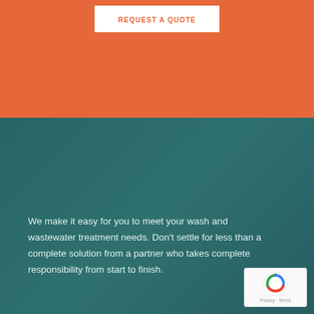REQUEST A QUOTE
We make it easy for you to meet your wash and wastewater treatment needs. Don't settle for less than a complete solution from a partner who takes complete responsibility from start to finish.
[Figure (logo): reCAPTCHA badge with privacy and terms text]